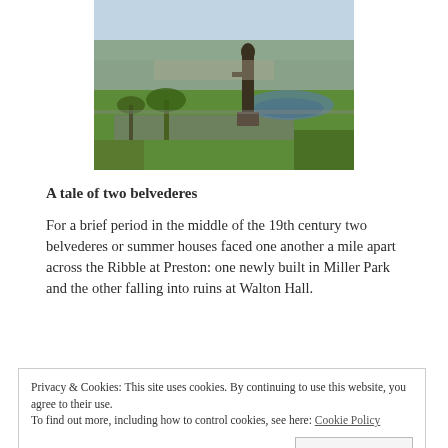[Figure (photo): Aerial/elevated view of a park with a statue in the foreground, green lawns, trees, a fountain and ornamental garden below, taken in winter with bare trees visible in background.]
A tale of two belvederes
For a brief period in the middle of the 19th century two belvederes or summer houses faced one another a mile apart across the Ribble at Preston: one newly built in Miller Park and the other falling into ruins at Walton Hall.
Privacy & Cookies: This site uses cookies. By continuing to use this website, you agree to their use.
To find out more, including how to control cookies, see here: Cookie Policy
[Close and accept]